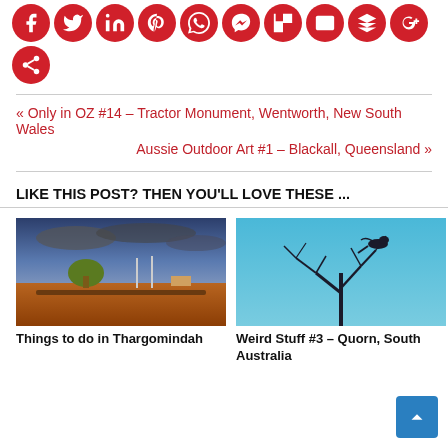[Figure (other): Row of red circular social sharing icons (Facebook, Twitter, LinkedIn, Pinterest, WhatsApp, Messenger, Flipboard, Email, Buffer, Google+, and a share icon)]
« Only in OZ #14 – Tractor Monument, Wentworth, New South Wales
Aussie Outdoor Art #1 – Blackall, Queensland »
LIKE THIS POST? THEN YOU'LL LOVE THESE ...
[Figure (photo): Outback Australian landscape with red dirt, logs, sparse trees and dramatic stormy sky]
[Figure (photo): Bird perched on bare tree branches against clear blue sky]
Things to do in Thargomindah
Weird Stuff #3 – Quorn, South Australia